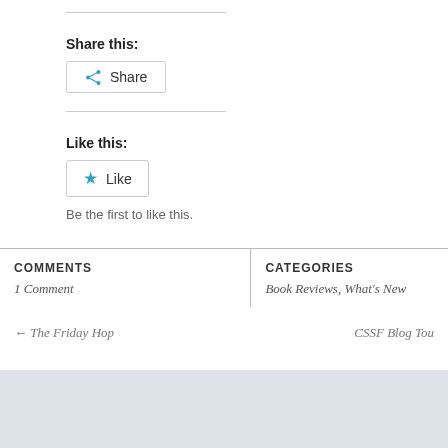Share this:
Share
Like this:
Like
Be the first to like this.
| COMMENTS | CATEGORIES |
| --- | --- |
| 1 Comment | Book Reviews, What's New |
← The Friday Hop
CSSF Blog Tou